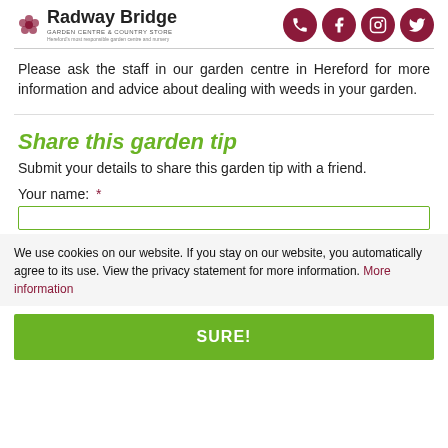[Figure (logo): Radway Bridge Garden Centre logo with decorative flower graphic and social media icons (phone, Facebook, Instagram, Twitter)]
Please ask the staff in our garden centre in Hereford for more information and advice about dealing with weeds in your garden.
Share this garden tip
Submit your details to share this garden tip with a friend.
Your name: *
We use cookies on our website. If you stay on our website, you automatically agree to its use. View the privacy statement for more information. More information
SURE!